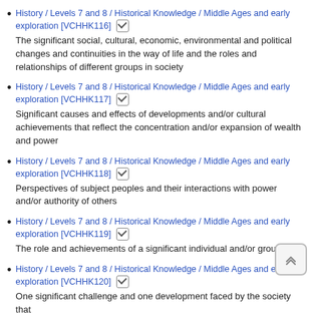History / Levels 7 and 8 / Historical Knowledge / Middle Ages and early exploration [VCHHK116] ☑ The significant social, cultural, economic, environmental and political changes and continuities in the way of life and the roles and relationships of different groups in society
History / Levels 7 and 8 / Historical Knowledge / Middle Ages and early exploration [VCHHK117] ☑ Significant causes and effects of developments and/or cultural achievements that reflect the concentration and/or expansion of wealth and power
History / Levels 7 and 8 / Historical Knowledge / Middle Ages and early exploration [VCHHK118] ☑ Perspectives of subject peoples and their interactions with power and/or authority of others
History / Levels 7 and 8 / Historical Knowledge / Middle Ages and early exploration [VCHHK119] ☑ The role and achievements of a significant individual and/or group
History / Levels 7 and 8 / Historical Knowledge / Middle Ages and early exploration [VCHHK120] ☑ One significant challenge and one development faced by the society that